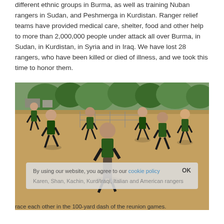different ethnic groups in Burma, as well as training Nuban rangers in Sudan, and Peshmerga in Kurdistan. Ranger relief teams have provided medical care, shelter, food and other help to more than 2,000,000 people under attack all over Burma, in Sudan, in Kurdistan, in Syria and in Iraq. We have lost 28 rangers, who have been killed or died of illness, and we took this time to honor them.
[Figure (photo): A group of people in green military-style shirts running across a sandy field toward the camera, with trees and structures visible in the background. A cookie consent banner overlays the lower portion of the image.]
Karen, Shan, Kachin, Kurd/Iraqi, Italian and American rangers race each other in the 100-yard dash of the reunion games.